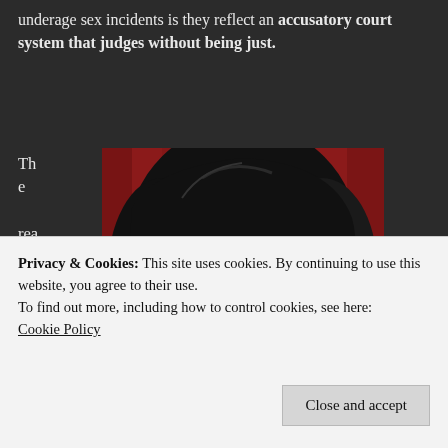underage sex incidents is they reflect an accusatory court system that judges without being just.
The reason late Michael Jac
[Figure (photo): Close-up photo of a person with long black hair, aviator sunglasses, and distinctive facial features, in front of a red background.]
(privacy & cookies notice) Privacy & Cookies: This site uses cookies. By continuing to use this website, you agree to their use. To find out more, including how to control cookies, see here: Cookie Policy
Close and accept